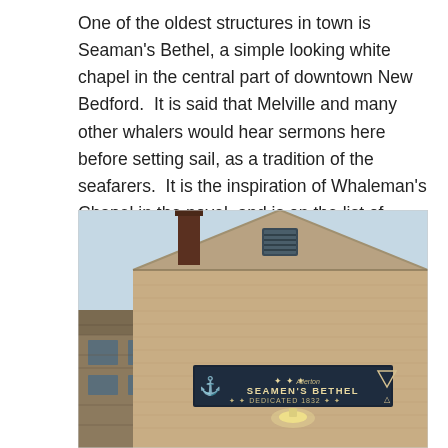One of the oldest structures in town is Seaman's Bethel, a simple looking white chapel in the central part of downtown New Bedford.  It is said that Melville and many other whalers would hear sermons here before setting sail, as a tradition of the seafarers.  It is the inspiration of Whaleman's Chapel in the novel, and is on the list of National Historic Places.
[Figure (photo): Exterior photograph of Seaman's Bethel building in New Bedford. The building is a light tan/beige brick structure with a peaked gable roof. A dark chimney rises on the left side. Near the top center is a small louvered window vent. Across the front face is a rectangular sign reading 'SEAMEN'S BETHEL DEDICATED 1832' with an anchor symbol on the left and a triangle/compass symbol on the right. A light fixture is illuminated below the sign. To the lower left, part of another building is visible. The sky is light blue.]